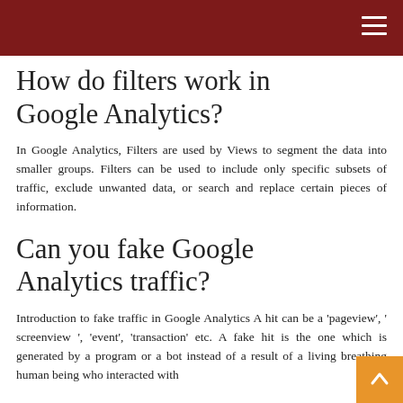How do filters work in Google Analytics?
In Google Analytics, Filters are used by Views to segment the data into smaller groups. Filters can be used to include only specific subsets of traffic, exclude unwanted data, or search and replace certain pieces of information.
Can you fake Google Analytics traffic?
Introduction to fake traffic in Google Analytics A hit can be a ‘pageview’, ‘ screenview ’, ‘event’, ‘transaction’ etc. A fake hit is the one which is generated by a program or a bot instead of a result of a living breathing human being who interacted with